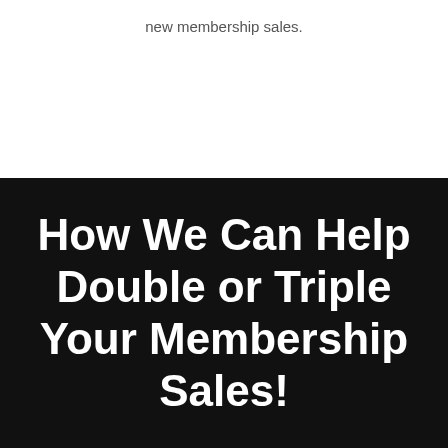new membership sales.
How We Can Help Double or Triple Your Membership Sales!